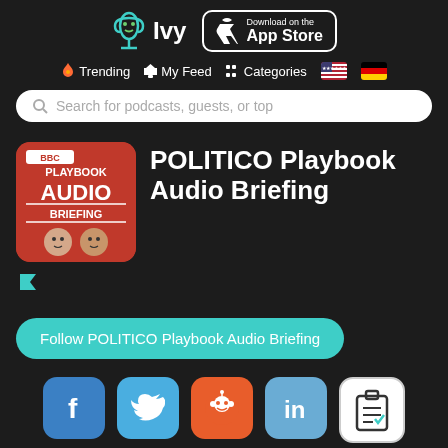[Figure (logo): Ivy podcast app logo with microphone icon and text 'Ivy', alongside Apple App Store download badge]
Trending  My Feed  Categories
Search for podcasts, guests, or top
POLITICO Playbook Audio Briefing
[Figure (illustration): POLITICO Playbook Audio Briefing podcast artwork - red background with show logo and host illustrations]
Follow POLITICO Playbook Audio Briefing
[Figure (infographic): Social sharing icons: Facebook, Twitter, Reddit, LinkedIn, and clipboard/list icon]